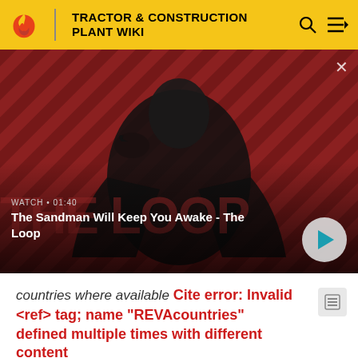TRACTOR & CONSTRUCTION PLANT WIKI
[Figure (screenshot): Video thumbnail showing a dark-cloaked figure with a crow on shoulder against a red diagonal striped background. Video title: The Sandman Will Keep You Awake - The Loop. Duration: 01:40.]
WATCH • 01:40
The Sandman Will Keep You Awake - The Loop
countries where available Cite error: Invalid <ref> tag; name "REVAcountries" defined multiple times with different content